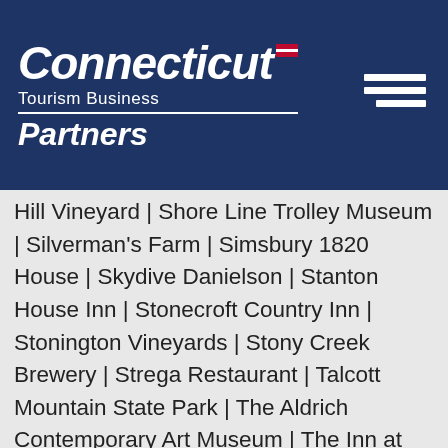[Figure (logo): Connecticut Tourism Business Partners logo — white bold italic text on dark navy blue background, with hamburger menu icon top right]
Hill Vineyard | Shore Line Trolley Museum | Silverman's Farm | Simsbury 1820 House | Skydive Danielson | Stanton House Inn | Stonecroft Country Inn | Stonington Vineyards | Stony Creek Brewery | Strega Restaurant | Talcott Mountain State Park | The Aldrich Contemporary Art Museum | The Inn at Woodstock Hill | The Litchfield Inn | The Mark Twain House & Museum | The Pickin Patch at Woodford Farm | The Vanilla Bean Café | The Wallingford Victorian Inn | The West Lane Inn | The Windemere B&B | Thimble Islands Bed & Breakfast | Town of Brookfield | Town of Chester | Town of Easton | Town